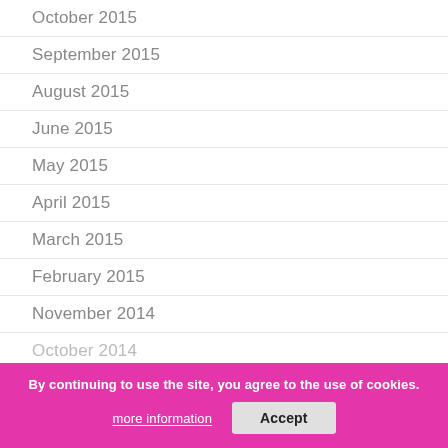October 2015
September 2015
August 2015
June 2015
May 2015
April 2015
March 2015
February 2015
November 2014
October 2014
September 2014
By continuing to use the site, you agree to the use of cookies.
more information
Accept